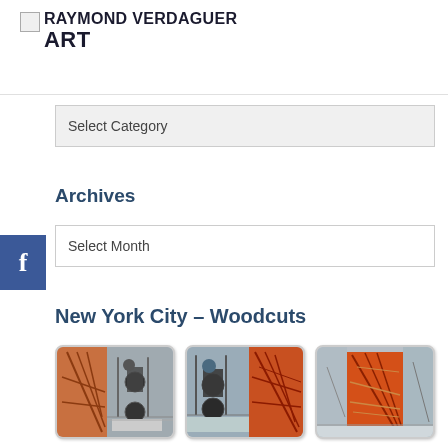RAYMOND VERDAGUER ART
Select Category
Archives
Select Month
[Figure (other): Facebook button icon on left edge]
New York City – Woodcuts
[Figure (photo): Three thumbnail images of New York City woodcut artworks showing cyclists on a bridge alongside red carved woodcut panels]
Williamson Bridge artwork – key to...